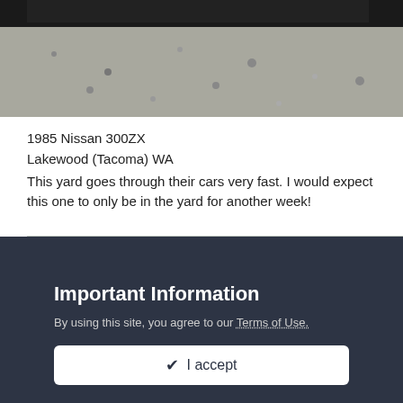[Figure (photo): Partial top view of a car in a gravel junkyard, only roof and gravel visible]
1985 Nissan 300ZX
Lakewood (Tacoma) WA
This yard goes through their cars very fast. I would expect this one to only be in the yard for another week!
[Figure (photo): 1985 Nissan 300ZX silver/gold coupe in a junkyard, front three-quarter view with other cars in background]
Important Information
By using this site, you agree to our Terms of Use.
✓  I accept